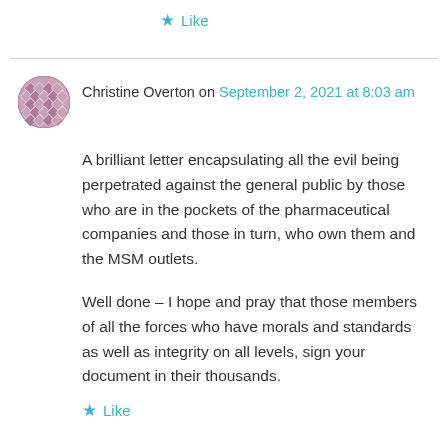★ Like
Christine Overton on September 2, 2021 at 8:03 am
A brilliant letter encapsulating all the evil being perpetrated against the general public by those who are in the pockets of the pharmaceutical companies and those in turn, who own them and the MSM outlets.

Well done – I hope and pray that those members of all the forces who have morals and standards as well as integrity on all levels, sign your document in their thousands.
★ Like